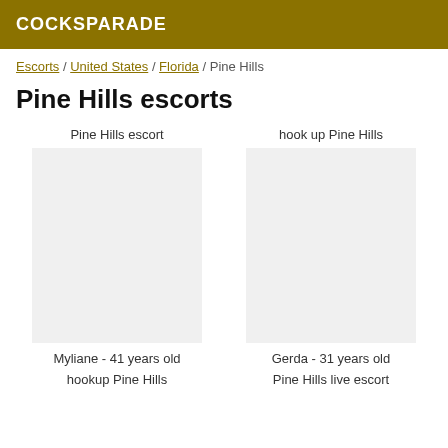COCKSPARADE
Escorts / United States / Florida / Pine Hills
Pine Hills escorts
Pine Hills escort
hook up Pine Hills
Myliane - 41 years old
Gerda - 31 years old
hookup Pine Hills
Pine Hills live escort